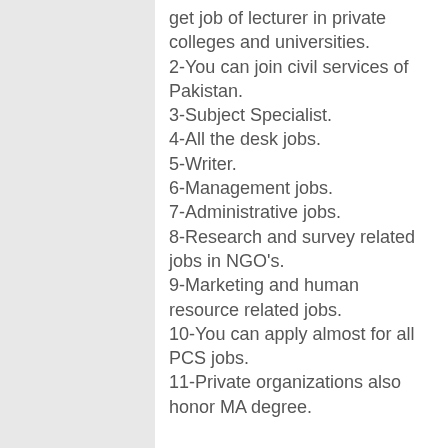get job of lecturer in private colleges and universities.
2-You can join civil services of Pakistan.
3-Subject Specialist.
4-All the desk jobs.
5-Writer.
6-Management jobs.
7-Administrative jobs.
8-Research and survey related jobs in NGO's.
9-Marketing and human resource related jobs.
10-You can apply almost for all PCS jobs.
11-Private organizations also honor MA degree.